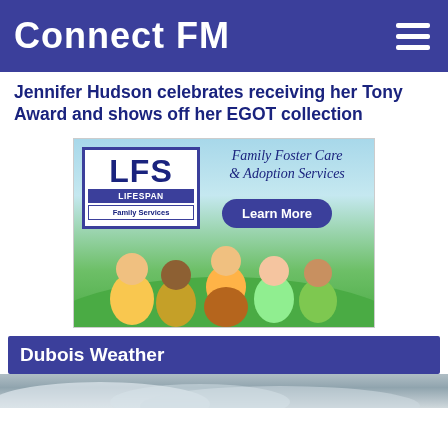Connect FM
Jennifer Hudson celebrates receiving her Tony Award and shows off her EGOT collection
[Figure (illustration): LFS Lifespan Family Services advertisement banner showing a group of happy children on a green hill background, with text 'Family Foster Care & Adoption Services' and a 'Learn More' button.]
Dubois Weather
[Figure (photo): Sky and clouds photo used as weather section background image.]